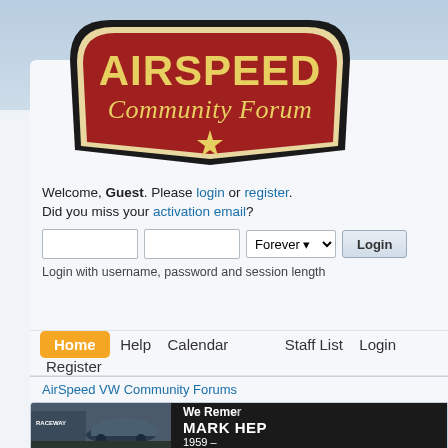[Figure (logo): Airspeed Community Forum logo badge - red shield shape with cream/tan border, 'AIRSPEED' in large bold yellow letters at top, 'Community Forum' in cursive below, small star at bottom]
Welcome, Guest. Please login or register. Did you miss your activation email?
[Figure (screenshot): Login form with username input, password input, Forever session dropdown, and Login button]
Login with username, password and session length
Home  Help  Calendar  Staff List  Login  Register
AirSpeed VW Community Forums
[Figure (photo): Black and dark banner showing a vintage VW Beetle at a raceway on left, and text 'We Remember MARK HEP' on dark right panel]